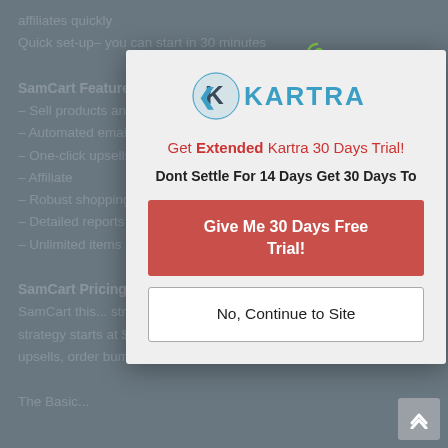affiliates quickly
Quick set-up– you can start in 30 minutes
SamCart Features:
– Sell products and services online
– Automated email capabilities
– One-click upsells
– Affiliate
– Robust shopping cart software
– Detailed reports and analytics
– Unlimited items
SamCart Pricing:
SamCart this... strategies Basic, Pro, and Advanced. The Basic strategy starts at $19/month and consists of endless items, one-click upsells, order bumps, vouchers, and fundamental combinations.
[Figure (screenshot): Kartra popup modal overlay with logo, promotional text, and two CTA buttons]
KARTRA
Get Extended Kartra 30 Days Trial!
Dont Settle For 14 Days Get 30 Days To
Give Me 30 Days Free Trial!
No, Continue to Site